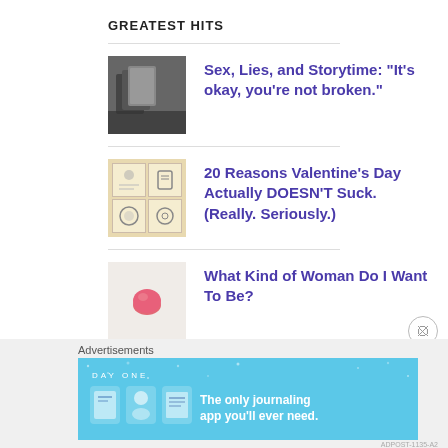GREATEST HITS
Sex, Lies, and Storytime: "It's okay, you're not broken."
20 Reasons Valentine's Day Actually DOESN'T Suck. (Really. Seriously.)
What Kind of Woman Do I Want To Be?
Advertisements
[Figure (screenshot): DAY ONE app advertisement banner - The only journaling app you'll ever need.]